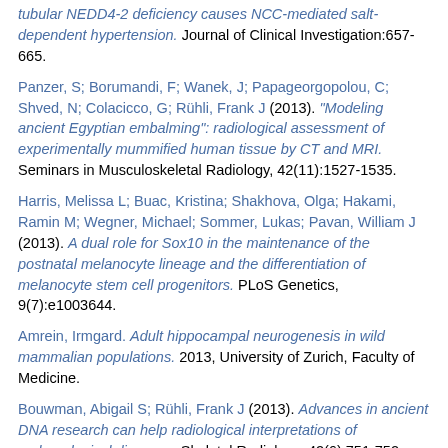tubular NEDD4-2 deficiency causes NCC-mediated salt-dependent hypertension. Journal of Clinical Investigation:657-665.
Panzer, S; Borumandi, F; Wanek, J; Papageorgopolou, C; Shved, N; Colacicco, G; Rühli, Frank J (2013). "Modeling ancient Egyptian embalming": radiological assessment of experimentally mummified human tissue by CT and MRI. Seminars in Musculoskeletal Radiology, 42(11):1527-1535.
Harris, Melissa L; Buac, Kristina; Shakhova, Olga; Hakami, Ramin M; Wegner, Michael; Sommer, Lukas; Pavan, William J (2013). A dual role for Sox10 in the maintenance of the postnatal melanocyte lineage and the differentiation of melanocyte stem cell progenitors. PLoS Genetics, 9(7):e1003644.
Amrein, Irmgard. Adult hippocampal neurogenesis in wild mammalian populations. 2013, University of Zurich, Faculty of Medicine.
Bouwman, Abigail S; Rühli, Frank J (2013). Advances in ancient DNA research can help radiological interpretations of archaeological diseases. Skeletal Radiology, 42(6):751-752.
Simmet, D M; Schwarzwälder, A; Paulsen, K; Tauber, S; Engelmann, F; Thiel, C; Ullrich, O (2013). Biotechnology for the